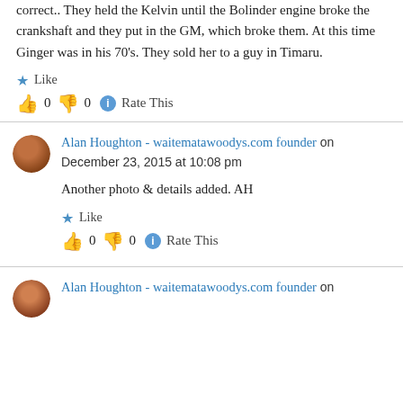correct.. They held the Kelvin until the Bolinder engine broke the crankshaft and they put in the GM, which broke them. At this time Ginger was in his 70's. They sold her to a guy in Timaru.
★ Like
👍 0 👎 0 ℹ Rate This
Alan Houghton - waitematawoodys.com founder on December 23, 2015 at 10:08 pm
Another photo & details added. AH
★ Like
👍 0 👎 0 ℹ Rate This
Alan Houghton - waitematawoodys.com founder on